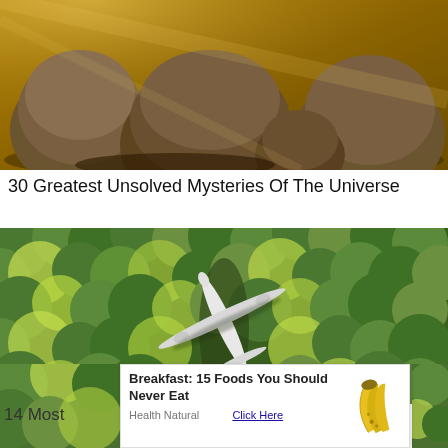[Figure (photo): Aerial or close-up view of large brown woolly animals resembling bison or prehistoric creatures, standing on golden-lit ground]
30 Greatest Unsolved Mysteries Of The Universe
[Figure (photo): Aerial view of a white commercial airplane surrounded by dense green forest/trees, shot from directly above]
[Figure (photo): Partially visible image at bottom left, showing continuation of the forest/airplane scene]
Breakfast: 15 Foods You Should Never Eat
Health Natural
Click Here
14 Most